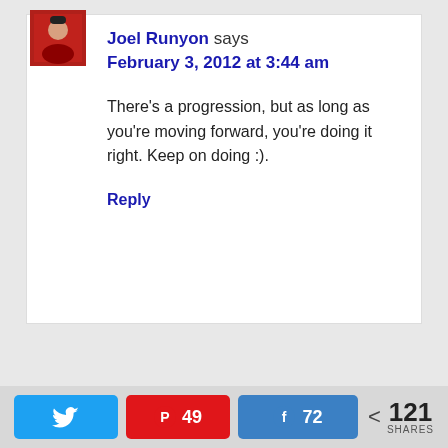Joel Runyon says
February 3, 2012 at 3:44 am
There's a progression, but as long as you're moving forward, you're doing it right. Keep on doing :).
Reply
Twitter | Pinterest 49 | Facebook 72 | < 121 SHARES